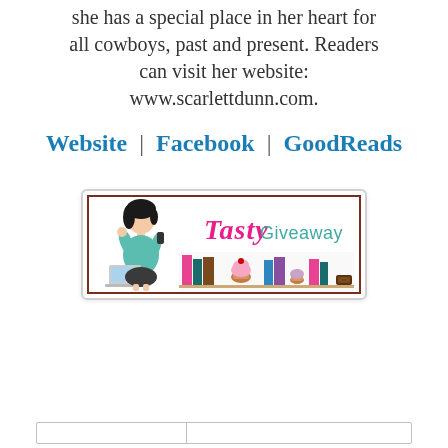she has a special place in her heart for all cowboys, past and present. Readers can visit her website: www.scarlettdunn.com.
Website | Facebook | GoodReads
[Figure (illustration): Tasty Giveaway banner logo featuring a cartoon woman with dark hair in a teal top, a laptop, books, cupcakes and treats on a shelf, with 'Tasty' in pink cursive and 'Giveaway' in teal text, surrounded by a dark red border.]